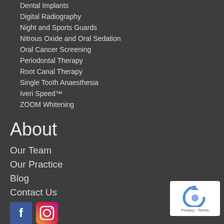Dental Implants
Digital Radiography
Night and Sports Guards
Nitrous Oxide and Oral Sedation
Oral Cancer Screening
Periodontal Therapy
Root Canal Therapy
Single Tooth Anaesthesia
Iveri Speed™
ZOOM Whitening
About
Our Team
Our Practice
Blog
Contact Us